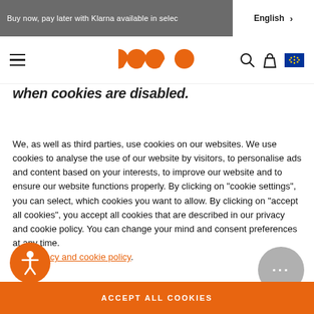Buy now, pay later with Klarna available in selec  English >
[Figure (logo): Website navigation bar with hamburger menu, orange Pac-Man style logo, search icon, bag icon, and EU flag icon]
when cookies are disabled.
We, as well as third parties, use cookies on our websites. We use cookies to analyse the use of our website by visitors, to personalise ads and content based on your interests, to improve our website and to ensure our website functions properly. By clicking on "cookie settings", you can select, which cookies you want to allow. By clicking on "accept all cookies", you accept all cookies that are described in our privacy and cookie policy. You can change your mind and consent preferences at any time. Our privacy and cookie policy.
ACCEPT ALL COOKIES